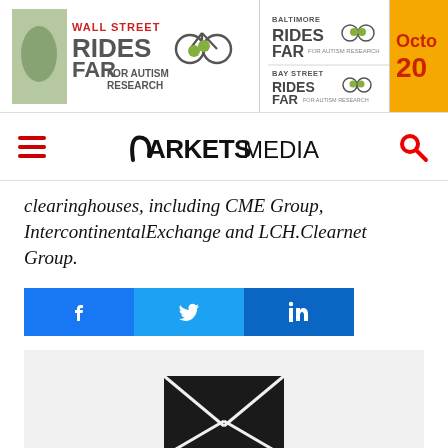[Figure (photo): Banner advertisement for 'Wall Street Rides FAR for Autism Research', 'Baltimore Rides FAR', 'Bay Street Rides FAR', and an October date badge]
MARKETS MEDIA (with hamburger menu and search icon)
clearinghouses, including CME Group, IntercontinentalExchange and LCH.Clearnet Group.
[Figure (infographic): Social sharing buttons: Facebook, Twitter, LinkedIn]
[Figure (infographic): Envelope/mail icon for newsletter sign up]
NEWSLETTER SIGN UP